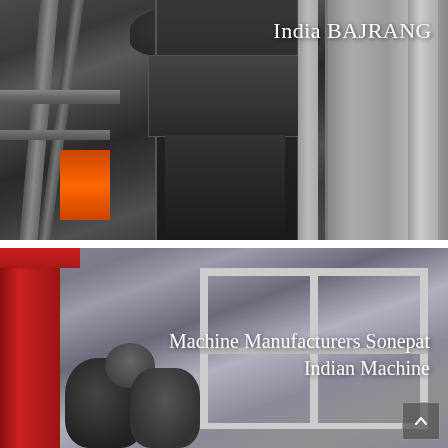[Figure (photo): Industrial vertical mill or grinding machine inside a factory. Large dark steel cylindrical structure in center, metal beams and structural steel on left, white concrete walls and large curved pipe/chute on right, orange safety element at bottom left.]
India BAJRANG
[Figure (photo): Outdoor industrial scene showing heavy machinery and equipment. Red crane on left, grey scaffolding/metal frame structure in center-right, large dark crusher or mill components in foreground bottom. Overcast sky background.]
Machine Manufacturers Sonepat Indian Machine